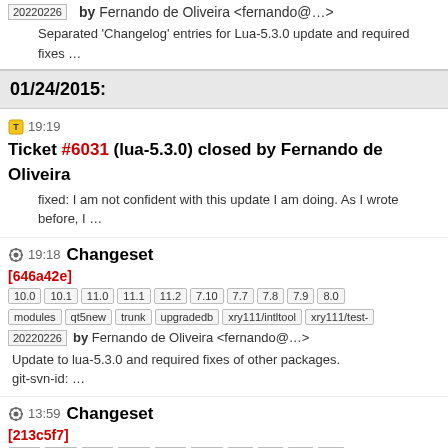20220226 by Fernando de Oliveira <fernando@...>
Separated 'Changelog' entries for Lua-5.3.0 update and required fixes …
01/24/2015:
19:19 Ticket #6031 (lua-5.3.0) closed by Fernando de Oliveira
fixed: I am not confident with this update I am doing. As I wrote before, I …
19:18 Changeset [646a42e] 10.0 10.1 11.0 11.1 11.2 7.10 7.7 7.8 7.9 8.0 modules qt5new trunk upgradedb xry111/intltool xry111/test-20220226 by Fernando de Oliveira <fernando@...>
Update to lua-5.3.0 and required fixes of other packages. git-svn-id: …
13:59 Changeset [213c5f7] 10.0 10.1 11.0 11.1 11.2 7.10 7.7 7.8 7.9 8.0 modules qt5new trunk upgradedb xry111/intltool xry111/test-